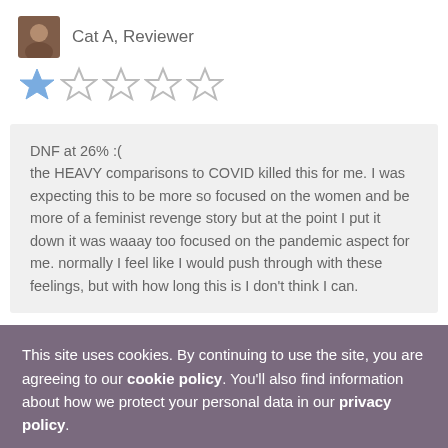[Figure (photo): Avatar photo of reviewer Cat A]
Cat A, Reviewer
[Figure (other): Star rating: 1 out of 5 stars (one filled blue star, four empty stars)]
DNF at 26% :(
the HEAVY comparisons to COVID killed this for me. I was expecting this to be more so focused on the women and be more of a feminist revenge story but at the point I put it down it was waaay too focused on the pandemic aspect for me. normally I feel like I would push through with these feelings, but with how long this is I don't think I can.
This site uses cookies. By continuing to use the site, you are agreeing to our cookie policy. You'll also find information about how we protect your personal data in our privacy policy.
I agree